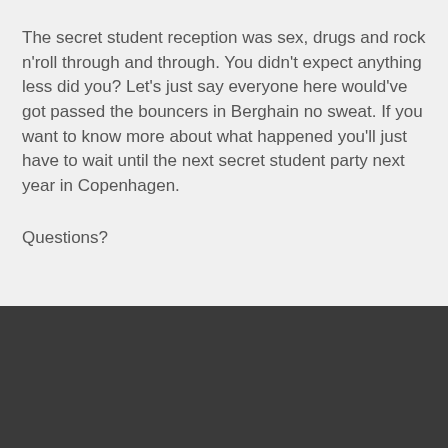The secret student reception was sex, drugs and rock n'roll through and through. You didn't expect anything less did you? Let's just say everyone here would've got passed the bouncers in Berghain no sweat. If you want to know more about what happened you'll just have to wait until the next secret student party next year in Copenhagen.
Questions?
Association for Information Science and Technology
673 Potomac Station Drive | Suite 155 | Leesburg, VA USA